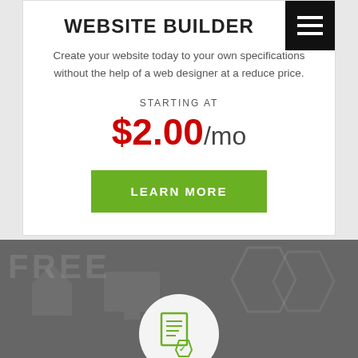WEBSITE BUILDER
Create your website today to your own specifications without the help of a web designer at a reduce price.
STARTING AT
$2.00/mo
LEARN MORE
[Figure (illustration): Dark grey banner section at the bottom with a white circle containing a green document/certificate icon. Background shows faint watermark text 'FREE' and shield icons.]